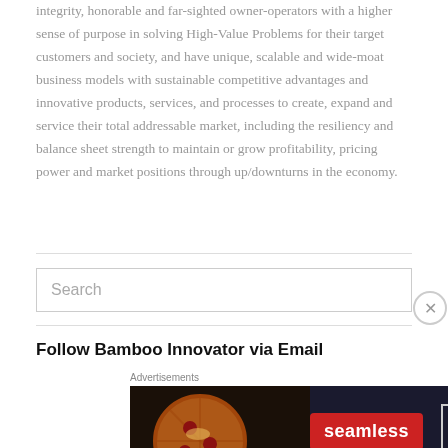integrity, honorable and far-sighted owner-operators with a higher sense of purpose in solving High-Value Problems for their target customers and society, and have unique, scalable and wide-moat business models with sustainable competitive advantages and innovative products, services, and processes to create, expand and service their total addressable market, including the resiliency and balance sheet strength to maintain or grow profitability, pricing power and market positions through up/downturns in the economy.
Search
Follow Bamboo Innovator via Email
[Figure (infographic): Seamless food delivery advertisement with pizza image on dark background, red Seamless logo button, and ORDER NOW button in white border box]